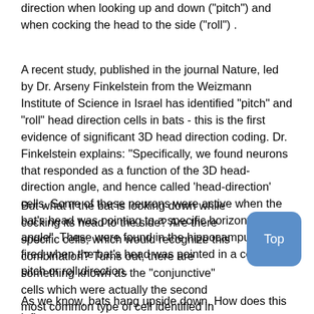direction when looking up and down ("pitch") and when cocking the head to the side ("roll") .
A recent study, published in the journal Nature, led by Dr. Arseny Finkelstein from the Weizmann Institute of Science in Israel has identified "pitch" and "roll" head direction cells in bats - this is the first evidence of significant 3D head direction coding. Dr. Finkelstein explains: "Specifically, we found neurons that responded as a function of the 3D head-direction angle, and hence called 'head-direction' cells. Some of these neurons were active when the bat's head was pointing to a specific horizontal angle". These were found in the hippocampus and fired when the bat's head was pointed in a certain pitch or roll direction.
But what if the bat is looking down while cocking its head to the side? Are there specific cells, which would recognize this combination? Turns out, there are something known as the "conjunctive" cells which were actually the second most common type of cell identified in this study, for this very purpose.
As we know, bats hang upside down. How does this influence